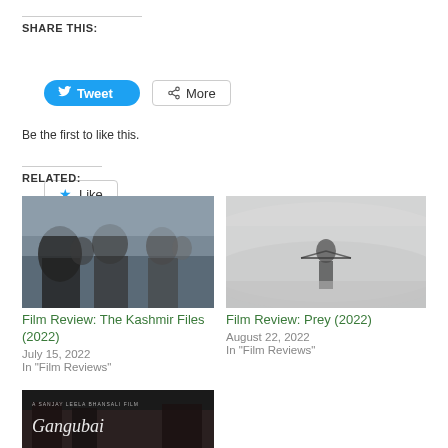SHARE THIS:
[Figure (other): Tweet button (blue rounded) and More button (outlined)]
[Figure (other): Like button with star icon]
Be the first to like this.
RELATED:
[Figure (photo): Film still from The Kashmir Files (2022) showing men in a crowd outdoor scene]
Film Review: The Kashmir Files (2022)
July 15, 2022
In "Film Reviews"
[Figure (photo): Film still from Prey (2022) showing a figure in misty forest holding a weapon]
Film Review: Prey (2022)
August 22, 2022
In "Film Reviews"
[Figure (photo): Movie poster for Gangubai (partial, showing stylized text and street scene)]